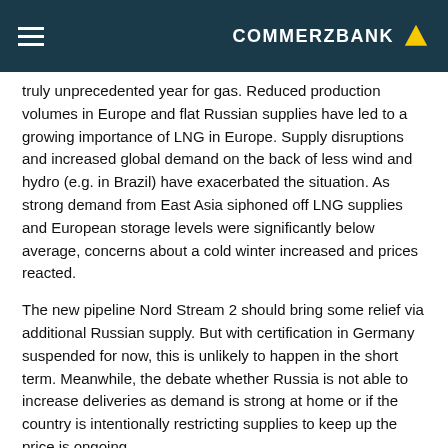COMMERZBANK
truly unprecedented year for gas. Reduced production volumes in Europe and flat Russian supplies have led to a growing importance of LNG in Europe. Supply disruptions and increased global demand on the back of less wind and hydro (e.g. in Brazil) have exacerbated the situation. As strong demand from East Asia siphoned off LNG supplies and European storage levels were significantly below average, concerns about a cold winter increased and prices reacted.
The new pipeline Nord Stream 2 should bring some relief via additional Russian supply. But with certification in Germany suspended for now, this is unlikely to happen in the short term. Meanwhile, the debate whether Russia is not able to increase deliveries as demand is strong at home or if the country is intentionally restricting supplies to keep up the price is ongoing.
"We are in the very beginning of a transformation from an